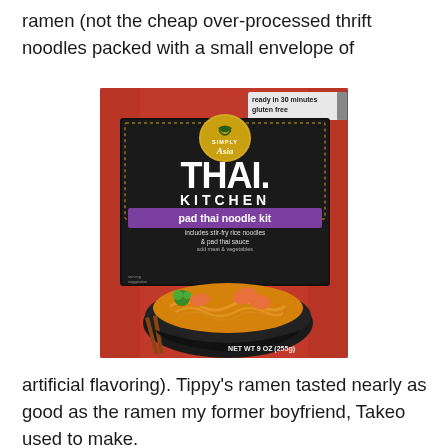ramen (not the cheap over-processed thrift noodles packed with a small envelope of
[Figure (photo): Thai Kitchen Pad Thai Noodle Kit product box. Red and black packaging with 'SIMPLY Asia' logo at top, large white 'THAI. KITCHEN' text, purple banner reading 'pad thai noodle kit', text 'includes stir-fry rice noodles & pad thai sauce add meat & vegetables', photo of pad thai noodles with shrimp in a black bowl with chopsticks, 'ready in 30 minutes gluten free' badges at top right, NET WT 9 OZ (255g) at bottom right.]
artificial flavoring). Tippy's ramen tasted nearly as good as the ramen my former boyfriend, Takeo used to make.